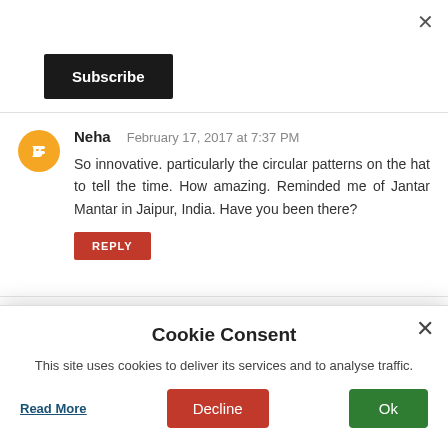[Figure (screenshot): Close (X) button in top right corner of page]
Subscribe
Neha   February 17, 2017 at 7:37 PM
So innovative. particularly the circular patterns on the hat to tell the time. How amazing. Reminded me of Jantar Mantar in Jaipur, India. Have you been there?
REPLY
Cookie Consent
This site uses cookies to deliver its services and to analyse traffic.
Read More
Decline
Ok